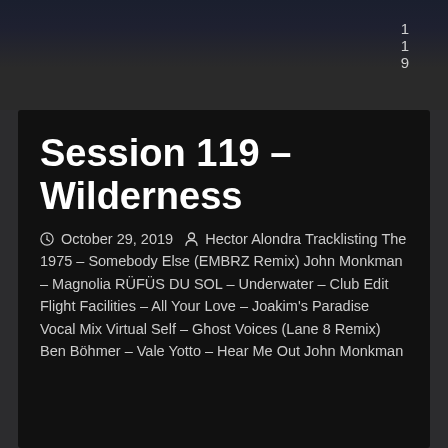119
Session 119 – Wilderness
October 29, 2019  Hector Alondra Tracklisting The 1975 – Somebody Else (EMBRZ Remix) John Monkman – Magnolia RÜFÜS DU SOL – Underwater – Club Edit Flight Facilities – All Your Love – Joakim's Paradise Vocal Mix Virtual Self – Ghost Voices (Lane 8 Remix) Ben Böhmer – Vale Yotto – Hear Me Out John Monkman